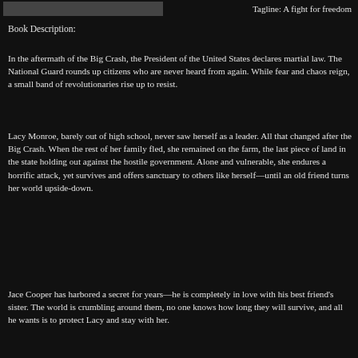[Figure (other): Dark horizontal bar image placeholder at top left]
Tagline: A fight for freedom
Book Description:
In the aftermath of the Big Crash, the President of the United States declares martial law. The National Guard rounds up citizens who are never heard from again. While fear and chaos reign, a small band of revolutionaries rise up to resist.
Lacy Monroe, barely out of high school, never saw herself as a leader. All that changed after the Big Crash. When the rest of her family fled, she remained on the farm, the last piece of land in the state holding out against the hostile government. Alone and vulnerable, she endures a horrific attack, yet survives and offers sanctuary to others like herself—until an old friend turns her world upside-down.
Jace Cooper has harbored a secret for years—he is completely in love with his best friend's sister. The world is crumbling around them, no one knows how long they will survive, and all he wants is to protect Lacy and stay with her.